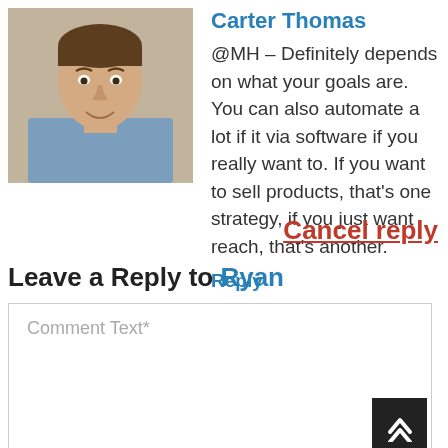[Figure (photo): Headshot of Carter Thomas, a man in a blue shirt smiling, with a beige/neutral background.]
Carter Thomas
@MH – Definitely depends on what your goals are. You can also automate a lot if it via software if you really want to. If you want to sell products, that's one strategy, if you just want reach, that's another.
Reply
Cancel reply
Leave a Reply to Ryan
Comment Text*